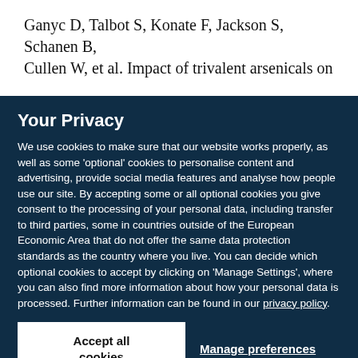Ganyc D, Talbot S, Konate F, Jackson S, Schanen B, Cullen W, et al. Impact of trivalent arsenicals on
Your Privacy
We use cookies to make sure that our website works properly, as well as some ‘optional’ cookies to personalise content and advertising, provide social media features and analyse how people use our site. By accepting some or all optional cookies you give consent to the processing of your personal data, including transfer to third parties, some in countries outside of the European Economic Area that do not offer the same data protection standards as the country where you live. You can decide which optional cookies to accept by clicking on ‘Manage Settings’, where you can also find more information about how your personal data is processed. Further information can be found in our privacy policy.
Accept all cookies
Manage preferences